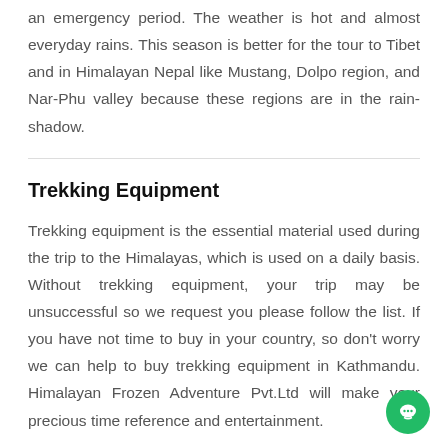an emergency period. The weather is hot and almost everyday rains. This season is better for the tour to Tibet and in Himalayan Nepal like Mustang, Dolpo region, and Nar-Phu valley because these regions are in the rain-shadow.
Trekking Equipment
Trekking equipment is the essential material used during the trip to the Himalayas, which is used on a daily basis. Without trekking equipment, your trip may be unsuccessful so we request you please follow the list. If you have not time to buy in your country, so don't worry we can help to buy trekking equipment in Kathmandu. Himalayan Frozen Adventure Pvt.Ltd will make your precious time reference and entertainment.